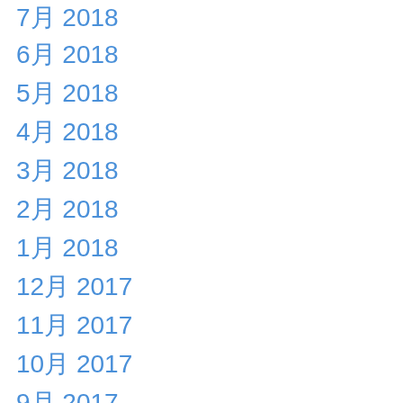7月 2018
6月 2018
5月 2018
4月 2018
3月 2018
2月 2018
1月 2018
12月 2017
11月 2017
10月 2017
9月 2017
8月 2017
7月 2017
6月 2017